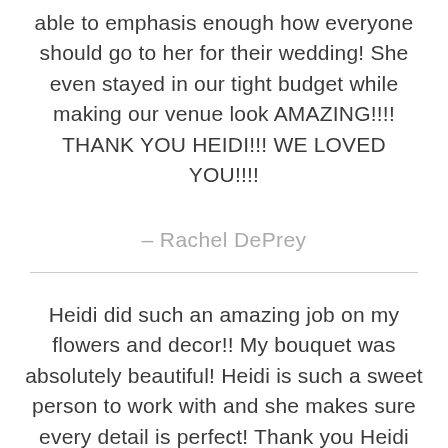able to emphasis enough how everyone should go to her for their wedding! She even stayed in our tight budget while making our venue look AMAZING!!!! THANK YOU HEIDI!!! WE LOVED YOU!!!!
– Rachel DePrey
Heidi did such an amazing job on my flowers and decor!! My bouquet was absolutely beautiful! Heidi is such a sweet person to work with and she makes sure every detail is perfect! Thank you Heidi for making my day even more beautiful!!!